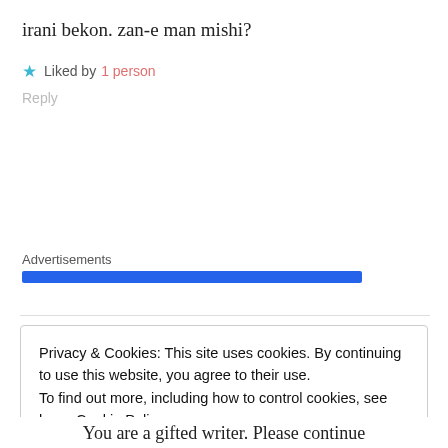irani bekon. zan-e man mishi?
★ Liked by 1 person
Reply
Advertisements
Privacy & Cookies: This site uses cookies. By continuing to use this website, you agree to their use.
To find out more, including how to control cookies, see here: Cookie Policy
Close and accept
You are a gifted writer. Please continue